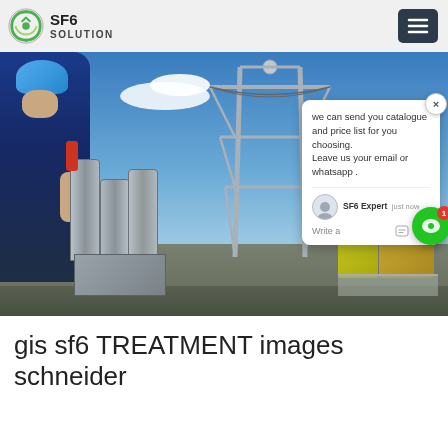SF6 SOLUTION
[Figure (photo): An electrical substation with a worker in a blue hard hat inspecting equipment, high-voltage transmission towers in the background, blue sky with clouds. A chat popup overlay shows a message: 'we can send you catalogue and price list for you choosing. Leave us your email or whatsapp.' from SF6 Expert, just now.]
gis sf6 TREATMENT images schneider